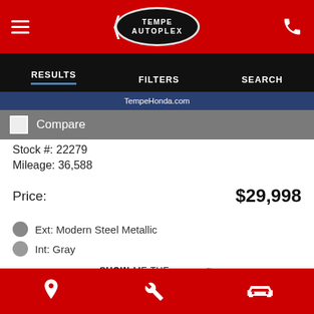Tempe Autoplex — TempeHonda.com
RESULTS   FILTERS   SEARCH
TempeHonda.com
Compare
Stock #: 22279
Mileage: 36,588
Price: $29,998
Ext: Modern Steel Metallic
Int: Gray
[Figure (logo): Carfax Show Me the Carfax 1 Owner badge]
Location, Wrench, Car icons footer bar